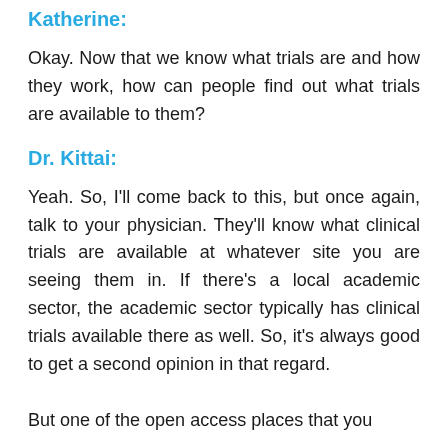Katherine:
Okay. Now that we know what trials are and how they work, how can people find out what trials are available to them?
Dr. Kittai:
Yeah. So, I'll come back to this, but once again, talk to your physician. They'll know what clinical trials are available at whatever site you are seeing them in. If there's a local academic sector, the academic sector typically has clinical trials available there as well. So, it's always good to get a second opinion in that regard.
But one of the open access places that you